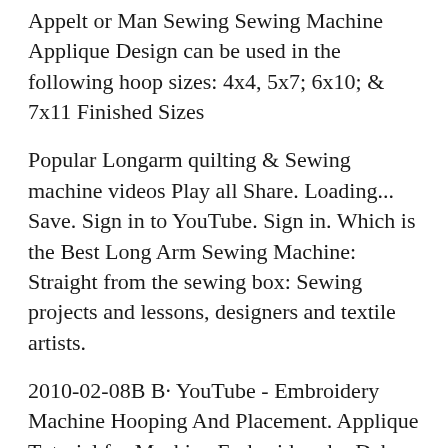Appelt or Man Sewing Sewing Machine Applique Design can be used in the following hoop sizes: 4x4, 5x7; 6x10; & 7x11 Finished Sizes
Popular Longarm quilting & Sewing machine videos Play all Share. Loading... Save. Sign in to YouTube. Sign in. Which is the Best Long Arm Sewing Machine: Straight from the sewing box: Sewing projects and lessons, designers and textile artists.
2010-02-08B B· YouTube - Embroidery Machine Hooping And Placement. Applique Tutorial for Machine Embroidery by Deb Sc... Embroidery Sewing Machines We've tested and reviewed over 40 Sewing Machines My next step is to learn to applique with the embroidery machine